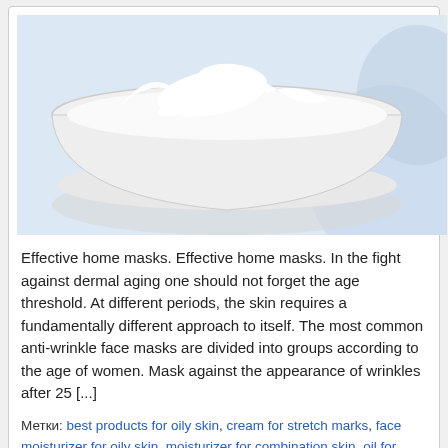[Figure (photo): Photo of a bowl of white cream or face mask on a light blue background]
Effective home masks. Effective home masks. In the fight against dermal aging one should not forget the age threshold. At different periods, the skin requires a fundamentally different approach to itself. The most common anti-wrinkle face masks are divided into groups according to the age of women. Mask against the appearance of wrinkles after 25 [...]
Метки: best products for oily skin, cream for stretch marks, face moisturizer for oily skin, moisturizer for combination skin, oil for stretch marks, oily face, Starch in face masks., stretch marks, stretch marks during pregnancy, stretch marks on the abdomen, striae on the abdomen, striae on the skin
Lifting botox with soap foam.
► Beauty, skin diseases,